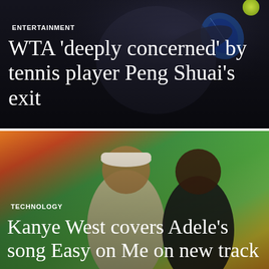[Figure (photo): Female tennis player mid-swing hitting a ball with a racket, dark background, action shot]
ENTERTAINMENT
WTA 'deeply concerned' by tennis player Peng Shuai's exit
[Figure (photo): Two men standing in front of colorful rainbow gradient background, one wearing a white cap and light hoodie, the other in a black t-shirt]
TECHNOLOGY
Kanye West covers Adele's song Easy on Me on new track